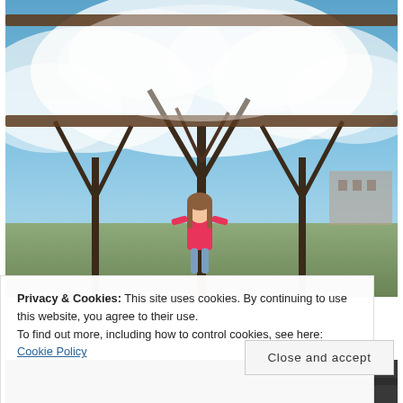[Figure (photo): A girl in a pink top standing under blooming white cherry blossom trees near metal railings, blue sky visible. A second partial photo of a dark scene is visible at the bottom.]
Privacy & Cookies: This site uses cookies. By continuing to use this website, you agree to their use.
To find out more, including how to control cookies, see here: Cookie Policy
Close and accept